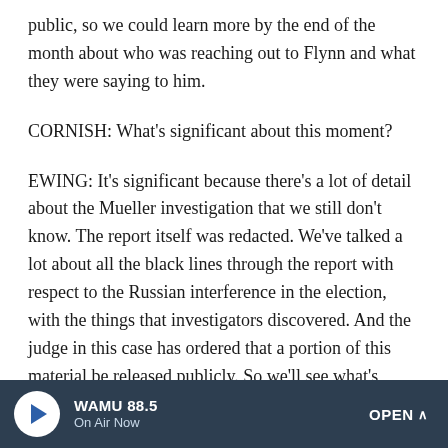public, so we could learn more by the end of the month about who was reaching out to Flynn and what they were saying to him.
CORNISH: What's significant about this moment?
EWING: It's significant because there's a lot of detail about the Mueller investigation that we still don't know. The report itself was redacted. We've talked a lot about all the black lines through the report with respect to the Russian interference in the election, with the things that investigators discovered. And the judge in this case has ordered that a portion of this material be released publicly. So we'll see what's behind those black lines in the parts of the document that pertain to Mike Flynn, and that'll be interesting clearly
WAMU 88.5 On Air Now OPEN